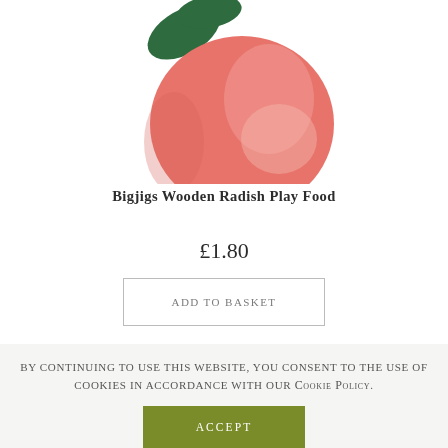[Figure (photo): A wooden toy radish play food item — a pink/red rounded radish body with a green felt leaf on top, shown against a white background (partially cropped at top).]
Bigjigs Wooden Radish Play Food
£1.80
Add to basket
By continuing to use this website, you consent to the use of cookies in accordance with our Cookie Policy.
Accept